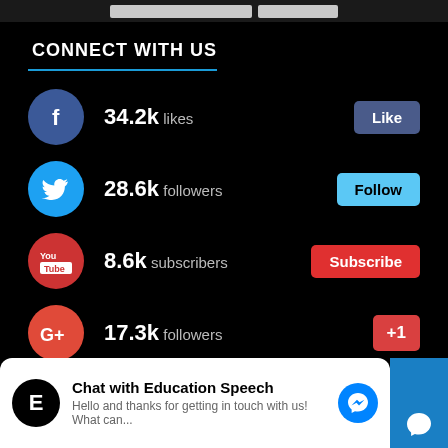CONNECT WITH US
34.2k likes — Like
28.6k followers — Follow
8.6k subscribers — Subscribe
17.3k followers — +1
Chat with Education Speech
Hello and thanks for getting in touch with us! What can...